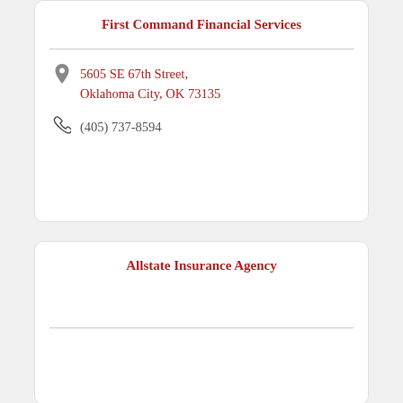First Command Financial Services
5605 SE 67th Street, Oklahoma City, OK 73135
(405) 737-8594
Allstate Insurance Agency